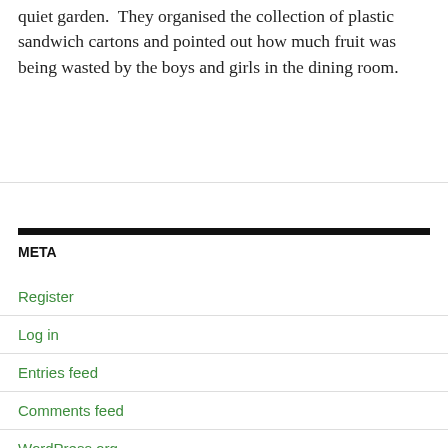quiet garden.  They organised the collection of plastic sandwich cartons and pointed out how much fruit was being wasted by the boys and girls in the dining room.
META
Register
Log in
Entries feed
Comments feed
WordPress.org